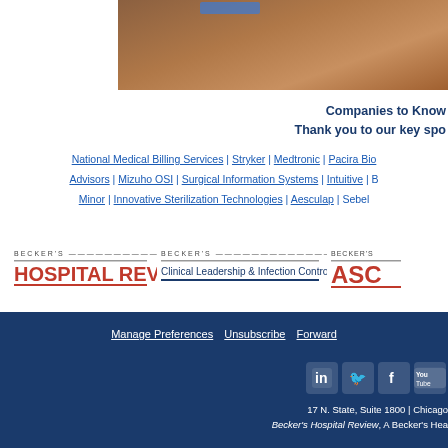[Figure (photo): Partial top image showing what appears to be a medical or professional setting, cropped at top of page]
Companies to Know
Thank you to our key spo
National Medical Billing Services | Stryker | Medtronic | Pacira Bio Advisors | Mizuho OSI | Surgical Information Systems | Intuitive | B Minor | Innovative Sterilization Technologies | Aesculap | Sebel
[Figure (logo): Becker's Hospital Review logo]
[Figure (logo): Becker's Clinical Leadership & Infection Control logo]
[Figure (logo): Becker's ASC logo (partially visible)]
Manage Preferences   Unsubscribe   Forward
17 N. State, Suite 1800 | Chicago
Becker's Hospital Review, A Becker's Hea